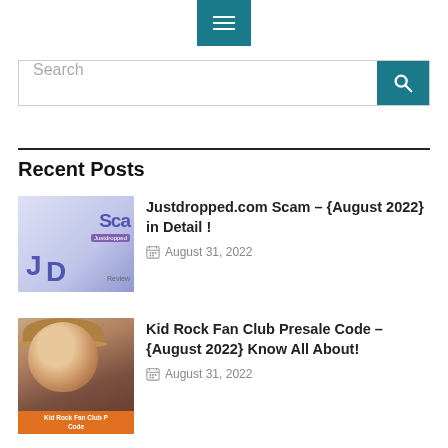[Figure (screenshot): Navigation hamburger menu button, teal/dark cyan color]
[Figure (screenshot): Search bar with placeholder text 'Search' and teal search button with magnifier icon]
Recent Posts
[Figure (screenshot): Thumbnail image for Justdropped.com Scam article showing JD logo with 'Sca' text and Justdropped label]
Justdropped.com Scam – {August 2022} in Detail !
August 31, 2022
[Figure (photo): Thumbnail image of a woman in a hat for Kid Rock Fan Club Presale Code article with orange label at bottom]
Kid Rock Fan Club Presale Code – {August 2022} Know All About!
August 31, 2022